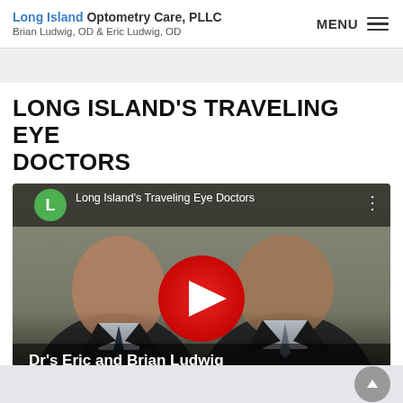Long Island Optometry Care, PLLC — Brian Ludwig, OD & Eric Ludwig, OD — MENU
LONG ISLAND'S TRAVELING EYE DOCTORS
[Figure (screenshot): YouTube video thumbnail showing two men in suits — Dr's Eric and Brian Ludwig, Owners of Long Island Optometry Care — with a red YouTube play button in the center. Video title reads 'Long Island's Traveling Eye Doctors'.]